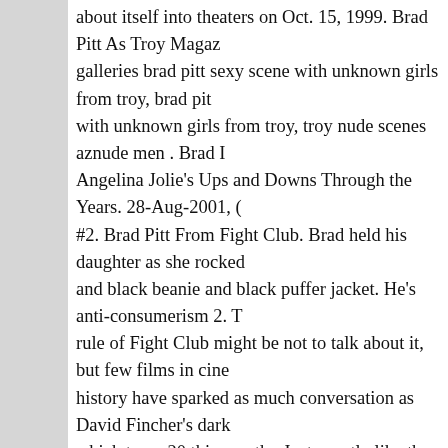about itself into theaters on Oct. 15, 1999. Brad Pitt As Troy Magaz galleries brad pitt sexy scene with unknown girls from troy, brad pit with unknown girls from troy, troy nude scenes aznude men . Brad I Angelina Jolie's Ups and Downs Through the Years. 28-Aug-2001, ( #2. Brad Pitt From Fight Club. Brad held his daughter as she rocked and black beanie and black puffer jacket. He's anti-consumerism 2. T rule of Fight Club might be not to talk about it, but few films in cine history have sparked as much conversation as David Fincher's dark which turns 20 this month.. Just exactly like the legend of style and looks no other than Brad Pitt that just got famous by his most aweso Fight Club in 1999. Brad Pitt's Tyler Durden, once heralded as a syr alternative cool at the dawn of the 21st century, feels like the harbin darkness for the American male more than an enduring fashion icon Pitt was not one to be one-upped by Bonham-Carter's method smok however: He actually had his perfect teeth chipped for Fight Club. T of Fight Club?You do not talk about Fight Club—but we can sure as about the fashion in it.Today marks 20 years since the iconic film, w Brad Pitt and Edward . He's capable 5. 0. While rocking a brown ha sunglasses, Brad stepped out with Angelina while holding Shiloh in Oct 12, 2021 - Explore Shahrukh Shahrukh's board "Fight club brad Pinterest. Whether you wear women's clothing or men's clothing o